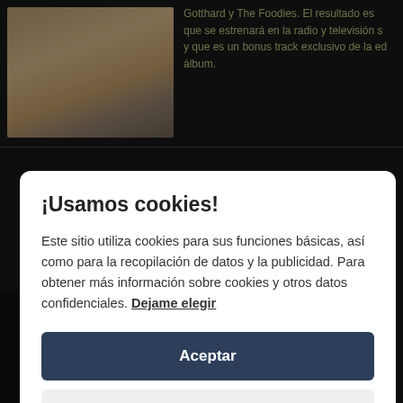[Figure (photo): Partial photo of a person, cropped, showing upper body outdoors]
Gotthard y The Foodies. El resultado es... que se estrenará en la radio y televisión s... y que es un bonus track exclusivo de la ed... álbum.
¡Usamos cookies!
Este sitio utiliza cookies para sus funciones básicas, así como para la recopilación de datos y la publicidad. Para obtener más información sobre cookies y otros datos confidenciales. Dejame elegir
Aceptar
Close
available online. The song is performed together with the Swedish hockey team.
http://www.facebook.com/photo.php?fbid=...